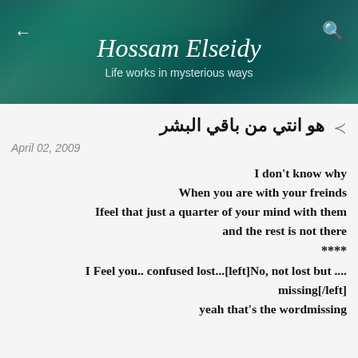Hossam Elseidy — Life works in mysterious ways
هو انتي من باقي البشر
April 02, 2009
I don't know why
When you are with your freinds
Ifeel that just a quarter of your mind with them
and the rest is not there
****
I Feel you.. confused lost...[left]No, not lost but ....
missing[/left]
yeah that's the wordmissing